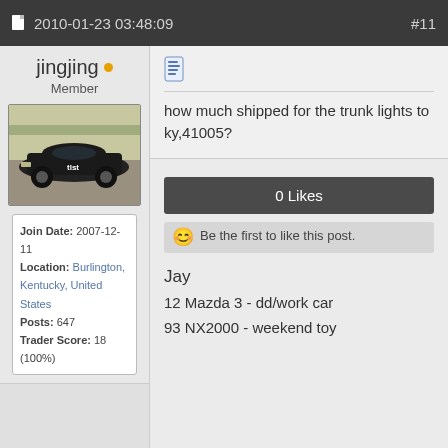2010-01-23 03:48:09   #11
jingjing
Member
[Figure (photo): Photo of a dark/black sports car (appears to be a Nissan) on a parking lot]
Join Date: 2007-12-11
Location: Burlington, Kentucky, United States
Posts: 647
Trader Score: 18 (100%)
how much shipped for the trunk lights to ky,41005?
0 Likes
Be the first to like this post.
Jay
12 Mazda 3 - dd/work car
93 NX2000 - weekend toy